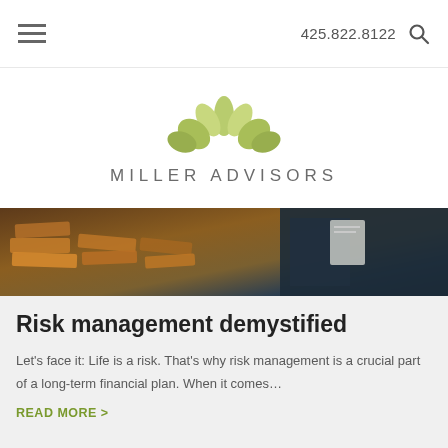425.822.8122
[Figure (logo): Miller Advisors logo with green lotus flower above the text MILLER ADVISORS]
[Figure (photo): Close-up photo of stacked wooden blocks (Jenga-style) with a person in a suit in the background, dark blue tones on the right side]
Risk management demystified
Let's face it: Life is a risk. That's why risk management is a crucial part of a long-term financial plan. When it comes…
READ MORE >